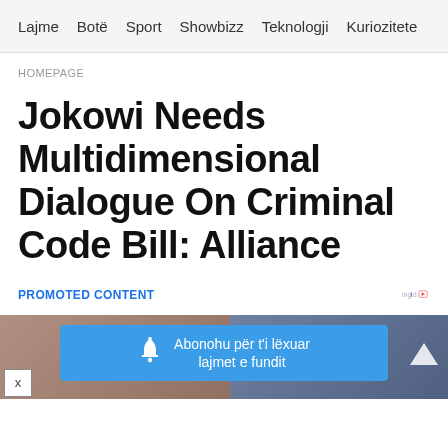Lajme  Botë  Sport  Showbizz  Teknologji  Kuriozitete
HOMEPAGE
Jokowi Needs Multidimensional Dialogue On Criminal Code Bill: Alliance
PROMOTED CONTENT
[Figure (screenshot): Notification subscription banner overlay on image strip: 'Abonohu për t'i lëxuar lajmet e fundit' with bell icon, blue background. Below are two thumbnail images side by side.]